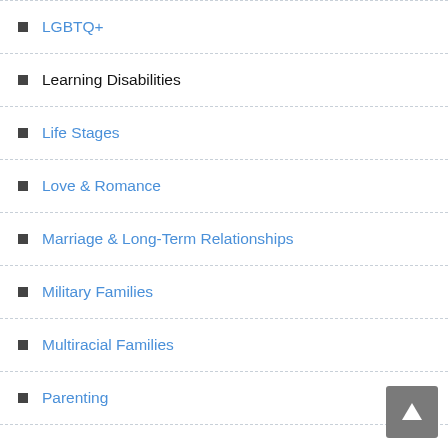LGBTQ+
Learning Disabilities
Life Stages
Love & Romance
Marriage & Long-Term Relationships
Military Families
Multiracial Families
Parenting